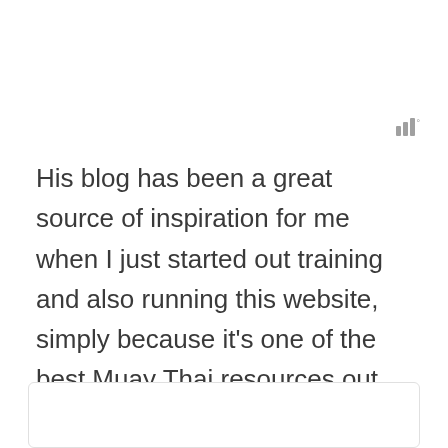[Figure (other): Signal bars icon with a small degree/dot superscript symbol, positioned top right]
His blog has been a great source of inspiration for me when I just started out training and also running this website, simply because it’s one of the best Muay Thai resources out there. It’s like a goldmine for all Muay Thai or striking fans. Go check it out now!
[Figure (other): White card/box element at the bottom of the page, partially visible]